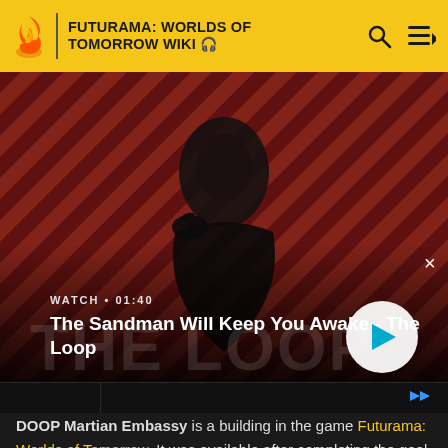FUTURAMA: WORLDS OF TOMORROW WIKI
[Figure (screenshot): Video thumbnail showing a dark-cloaked figure with a raven on their shoulder against a red diagonal-striped background. Text overlay reads 'WATCH • 01:40' and 'The Sandman Will Keep You Awake - The Loop' with a circular play button on the right.]
DOOP Martian Embassy is a building in the game Futurama: Worlds of Tomorrow. It was available after completing the goal Diplomatic Immunity, Pt. 5. This building...